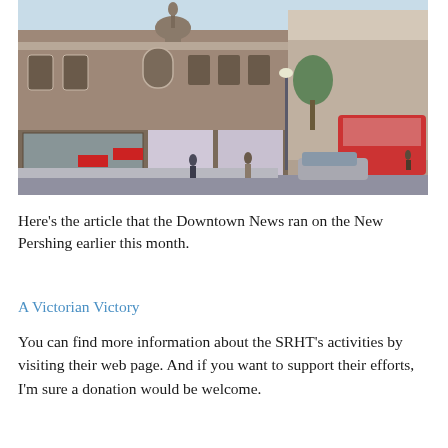[Figure (photo): Photograph of a large Victorian-era brick building on a city street corner. The building has ornate architectural details including arched windows, decorative cornices, a dome, and a statue on top. The ground floor has large glass storefronts. Street scene includes pedestrians, a red bus, and parked cars.]
Here's the article that the Downtown News ran on the New Pershing earlier this month.
A Victorian Victory
You can find more information about the SRHT's activities by visiting their web page. And if you want to support their efforts, I'm sure a donation would be welcome.